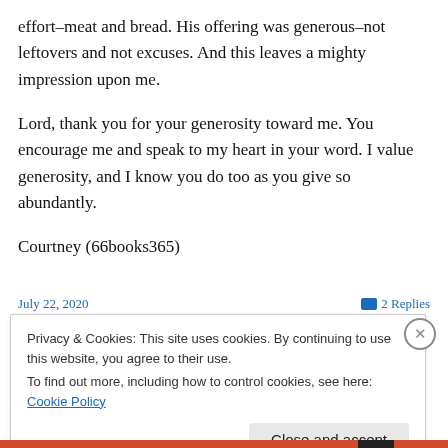effort–meat and bread. His offering was generous–not leftovers and not excuses. And this leaves a mighty impression upon me.
Lord, thank you for your generosity toward me. You encourage me and speak to my heart in your word. I value generosity, and I know you do too as you give so abundantly.
Courtney (66books365)
July 22, 2020
2 Replies
Privacy & Cookies: This site uses cookies. By continuing to use this website, you agree to their use.
To find out more, including how to control cookies, see here: Cookie Policy
Close and accept